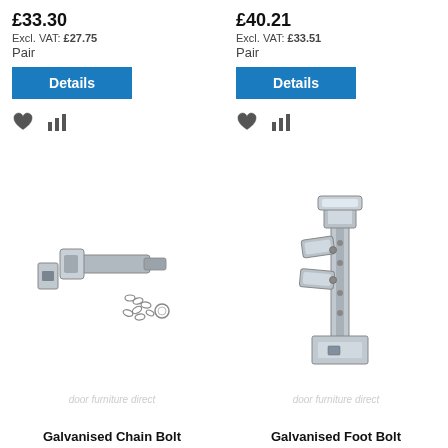£33.30
Excl. VAT: £27.75
Pair
Details
[Figure (photo): Galvanised chain bolt hardware set including the bolt mechanism and a chain with rings, on a white background with 'door furniture direct' watermark]
Galvanised Chain Bolt
£40.21
Excl. VAT: £33.51
Pair
Details
[Figure (photo): Galvanised foot bolt hardware showing a tall vertical bolt mechanism with foot pedal levers and a base plate, on a white background with 'door furniture direct' watermark]
Galvanised Foot Bolt